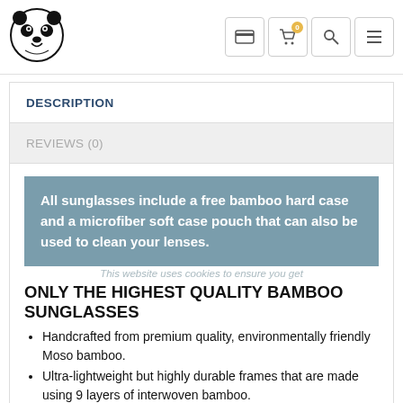[Figure (logo): Panda logo (circular black and white panda face icon)]
[Figure (other): Navigation icons: payment card icon, shopping cart with badge '0', search icon, hamburger menu icon]
DESCRIPTION
REVIEWS (0)
All sunglasses include a free bamboo hard case and a microfiber soft case pouch that can also be used to clean your lenses.
This website uses cookies to ensure you get
ONLY THE HIGHEST QUALITY BAMBOO SUNGLASSES
Handcrafted from premium quality, environmentally friendly Moso bamboo.
Ultra-lightweight but highly durable frames that are made using 9 layers of interwoven bamboo.